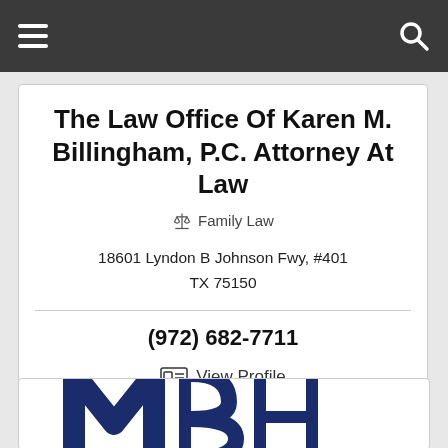Navigation bar with menu and search icons
The Law Office Of Karen M. Billingham, P.C. Attorney At Law
⚖ Family Law
18601 Lyndon B Johnson Fwy, #401
TX 75150
(972) 682-7711
View Profile
[Figure (logo): Partial logo with large letters MBH in dark navy blue, partially visible at bottom of page]